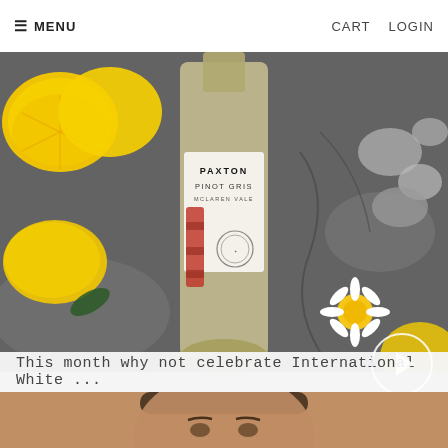≡ MENU    PAXTON    CART   LOGIN
PAXTON
[Figure (photo): A bottle of Paxton Pinot Gris McLaren Vale wine lying on a dark stone surface surrounded by lemons, a daisy flower, and smooth stones. The bottle label reads PAXTON PINOT GRIS MCLAREN VALE.]
This month why not celebrate International White ...
[Figure (photo): Close-up portrait of a man with dark hair, shown from the nose up, appearing to be outdoors or in a studio setting.]